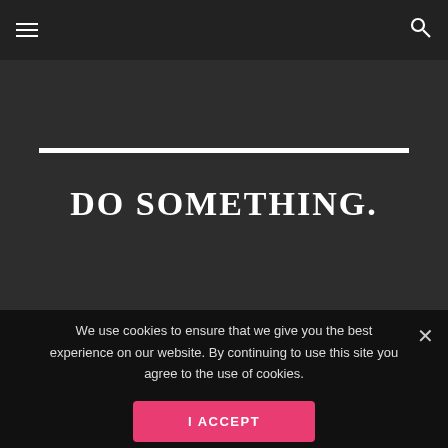≡  🔍
[Figure (illustration): Horizontal white bar/line above the main title]
DO SOMETHING.
[Figure (logo): Powered by Wheeling Heritage logo with vertical divider line, text in gray on dark background]
We use cookies to ensure that we give you the best experience on our website. By continuing to use this site you agree to the use of cookies.
I ACCEPT